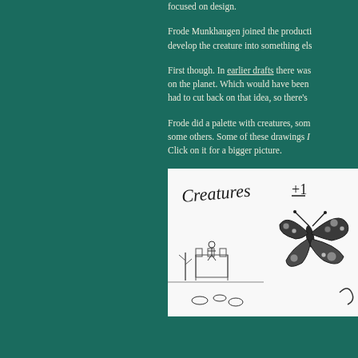focused on design.
Frode Munkhaugen joined the production to develop the creature into something else.
First though. In earlier drafts there was on the planet. Which would have been had to cut back on that idea, so there's
Frode did a palette with creatures, some some others. Some of these drawings I Click on it for a bigger picture.
[Figure (illustration): Hand-drawn sketch labeled 'Creatures+1' showing a detailed butterfly and other creatures on a white background]